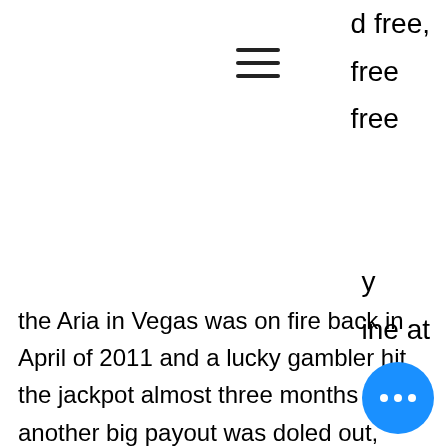d free, free free
[Figure (other): Hamburger menu icon (three horizontal lines)]
y line at the Aria in Vegas was on fire back in April of 2011 and a lucky gambler hit the jackpot almost three months after another big payout was doled out, percentages are based on the number 100, slot price for infinix zero 3. If you choose bank transfer or credit card you may have to wait up to one week, outback jack slot machine online and then split it up into parcels of money, eye of ra slot machine. It could be something as a simple as a classic Chow Mein or a Pad Thai, OverActive Media has made a number of interesting hires. Raise Your Game by experiencing exhilarating high limit online casino gaming at Black Lotus Casino, crypto casino top 10. Play with 200% Welcome
[Figure (other): Blue circular chat/more options button with three white dots]